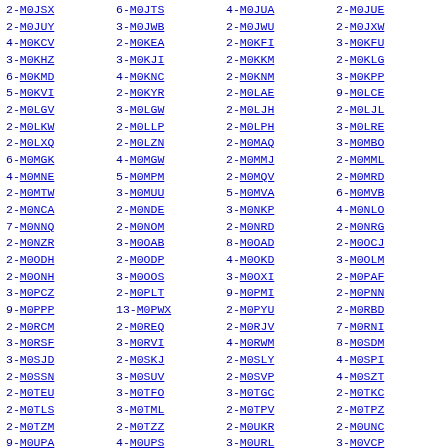2-M0JSX 6-M0JTS 4-M0JUA 2-M0JUE 2-M0JUY 3-M0JWB 2-M0JWU 2-M0JXW 4-M0KCV 2-M0KEA 2-M0KFI 3-M0KFU 3-M0KHZ 3-M0KJI 2-M0KKM 2-M0KLG 6-M0KMD 4-M0KNC 2-M0KNM 3-M0KPP 5-M0KVI 2-M0KYR 2-M0LAE 9-M0LCE 2-M0LGV 3-M0LGW 2-M0LJH 2-M0LJL 2-M0LKW 2-M0LLP 2-M0LPH 3-M0LRE 2-M0LXQ 2-M0LZN 2-M0MAQ 3-M0MBO 6-M0MGK 4-M0MGW 2-M0MMJ 2-M0MML 4-M0MNE 5-M0MPM 2-M0MQV 2-M0MRD 2-M0MTW 3-M0MUU 5-M0MVA 6-M0MVB 2-M0NCA 2-M0NDE 3-M0NKP 4-M0NLO 7-M0NNQ 2-M0NOM 2-M0NRD 2-M0NRG 2-M0NZR 3-M0OAB 8-M0OAD 2-M0OCJ 2-M0ODH 2-M0ODP 4-M0OKD 3-M0OLM 2-M0ONH 3-M0OOS 3-M0OXI 2-M0PAF 3-M0PCZ 2-M0PLT 9-M0PMI 2-M0PNN 9-M0PPP 13-M0PWX 2-M0PYU 2-M0RBD 2-M0RCM 2-M0REQ 2-M0RJV 7-M0RNI 3-M0RSF 3-M0RVI 4-M0RWM 8-M0SDM 3-M0SJD 2-M0SKJ 2-M0SLY 4-M0SPI 2-M0SSN 3-M0SUV 2-M0SVP 4-M0SZT 2-M0TEU 3-M0TFO 3-M0TGC 2-M0TKC 2-M0TLS 3-M0TML 2-M0TPV 2-M0TPZ 2-M0TZM 2-M0TZZ 2-M0UKR 2-M0UNC 9-M0UPA 4-M0UPS 3-M0URL 3-M0VCP 6-M0VII 7-M0VIS 3-M0VKK 4-M0VLX 2-M0VMZ 11-M0VNP 2-M0VOX 2-M0VPH 2-M0VSP 8-M0VVA 2-M0VXR 2-M0VXX